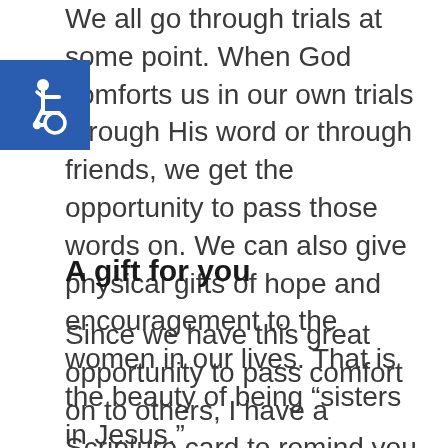We all go through trials at some point. When God comforts us in our own trials through His word or through friends, we get the opportunity to pass those words on. We can also give physical gifts of hope and encouragement to the women in our lives. That is the beauty of being “sisters in Jesus.”
[Figure (illustration): Wheelchair accessibility icon, white symbol on blue square background]
A gift for you
Since we have this great opportunity to pass comfort on to others, I have a Scripture card to remind you of that. NO EMAIL REQUIRED. Simply click on the image to download.